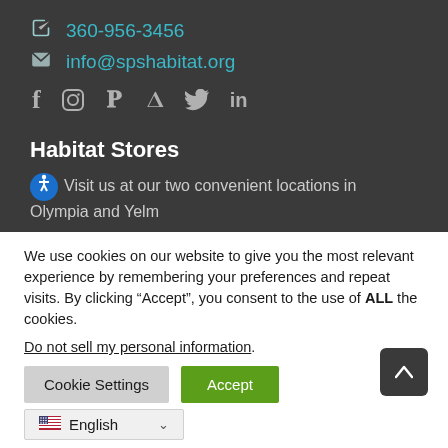360-956-3456
info@spshabitat.org
[Figure (other): Social media icons: Facebook, Instagram, Pinterest, Twitter, LinkedIn]
Habitat Stores
Visit us at our two convenient locations in Olympia and Yelm
We use cookies on our website to give you the most relevant experience by remembering your preferences and repeat visits. By clicking “Accept”, you consent to the use of ALL the cookies.
Do not sell my personal information.
Cookie Settings  Accept